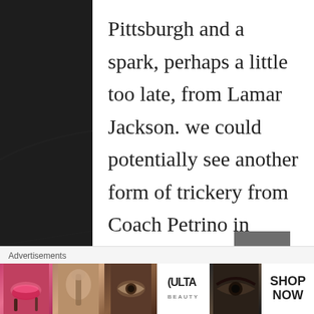Pittsburgh and a spark, perhaps a little too late, from Lamar Jackson. we could potentially see another form of trickery from Coach Petrino in putting all three (Reggie Bonnafon, as well) in the backfield. I just hope the Cards don't dig themselves in too much of a hole and have to unsuccessfully claw themselves out like they did against the Auburn Tigers to open the season and again last week verses the Pitt
Advertisements
[Figure (photo): Advertisement banner showing beauty/makeup products and faces with text SHOP NOW and ULTA Beauty logo]